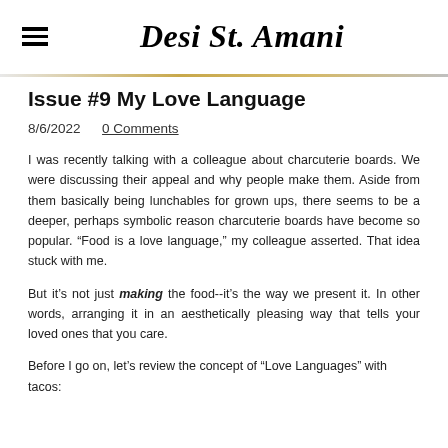Desi St. Amani
Issue #9 My Love Language
8/6/2022   0 Comments
I was recently talking with a colleague about charcuterie boards. We were discussing their appeal and why people make them. Aside from them basically being lunchables for grown ups, there seems to be a deeper, perhaps symbolic reason charcuterie boards have become so popular. “Food is a love language,” my colleague asserted. That idea stuck with me.
But it’s not just making the food--it’s the way we present it. In other words, arranging it in an aesthetically pleasing way that tells your loved ones that you care.
Before I go on, let’s review the concept of “Love Languages” with tacos: